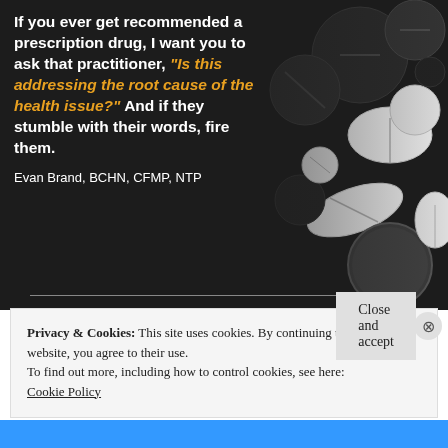[Figure (photo): Dark background with assorted prescription pills and tablets scattered on the right side, black and white/grayscale pills of various shapes and sizes]
If you ever get recommended a prescription drug, I want you to ask that practitioner, "Is this addressing the root cause of the health issue?" And if they stumble with their words, fire them.

Evan Brand, BCHN, CFMP, NTP
Privacy & Cookies: This site uses cookies. By continuing to use this website, you agree to their use.
To find out more, including how to control cookies, see here: Cookie Policy
Close and accept